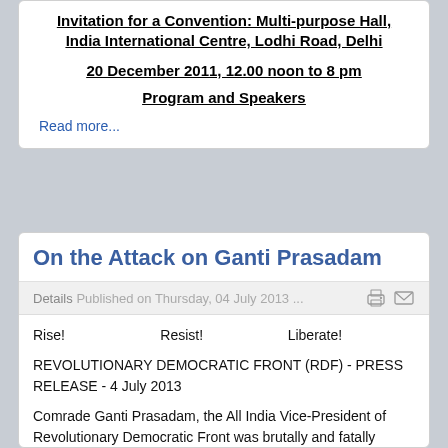Oppose Death Penalty as a Form of Punishment of the State!
Invitation for a Convention: Multi-purpose Hall, India International Centre, Lodhi Road, Delhi
20 December 2011, 12.00 noon to 8 pm
Program and Speakers
Read more...
On the Attack on Ganti Prasadam
Details  Published on Thursday, 04 July 2013 ...
Rise!      Resist!      Liberate!
REVOLUTIONARY DEMOCRATIC FRONT (RDF)  -  PRESS RELEASE  -  4 July 2013
Comrade Ganti Prasadam, the All India Vice-President of Revolutionary Democratic Front was brutally and fatally attacked by some unidentified gunmen in Nellore town today in the afternoon. The attackers first slew him on his neck with hunting sickles and then shot at him with a pistol three rounds. Comrade Ganti Prasadam is